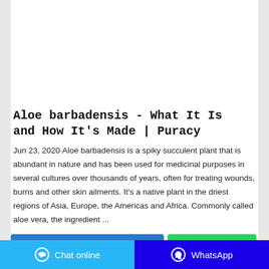[Figure (photo): A green Mystic branded bar of soap on a light gray/white background]
Aloe barbadensis - What It Is and How It's Made | Puracy
Jun 23, 2020·Aloe barbadensis is a spiky succulent plant that is abundant in nature and has been used for medicinal purposes in several cultures over thousands of years, often for treating wounds, burns and other skin ailments. It's a native plant in the driest regions of Asia, Europe, the Americas and Africa. Commonly called aloe vera, the ingredient ...
[Figure (other): Two partially visible buttons: a blue 'Contact the manufacturer' button and a green 'WhatsApp' button]
Chat online   WhatsApp